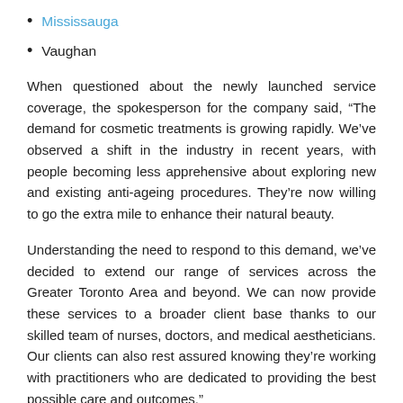Mississauga
Vaughan
When questioned about the newly launched service coverage, the spokesperson for the company said, “The demand for cosmetic treatments is growing rapidly. We’ve observed a shift in the industry in recent years, with people becoming less apprehensive about exploring new and existing anti-ageing procedures. They’re now willing to go the extra mile to enhance their natural beauty.
Understanding the need to respond to this demand, we’ve decided to extend our range of services across the Greater Toronto Area and beyond. We can now provide these services to a broader client base thanks to our skilled team of nurses, doctors, and medical aestheticians. Our clients can also rest assured knowing they’re working with practitioners who are dedicated to providing the best possible care and outcomes.”